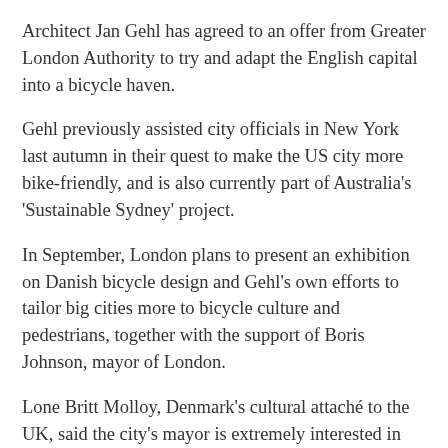Architect Jan Gehl has agreed to an offer from Greater London Authority to try and adapt the English capital into a bicycle haven.
Gehl previously assisted city officials in New York last autumn in their quest to make the US city more bike-friendly, and is also currently part of Australia's 'Sustainable Sydney' project.
In September, London plans to present an exhibition on Danish bicycle design and Gehl's own efforts to tailor big cities more to bicycle culture and pedestrians, together with the support of Boris Johnson, mayor of London.
Lone Britt Molloy, Denmark's cultural attaché to the UK, said the city's mayor is extremely interested in promoting bicycle culture.
It was obvious we had to get a dialogue going with the city council and arrange an exhibition where they had the possibility to influence its content,' she told financial daily Børsen. 'I also think it makes it more interesting for Londoners that the exhibition is put forth purely as a Danish